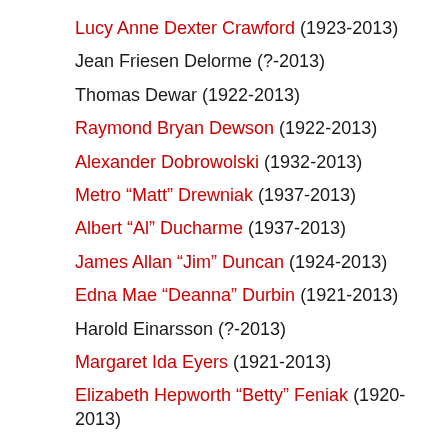Lucy Anne Dexter Crawford (1923-2013)
Jean Friesen Delorme (?-2013)
Thomas Dewar (1922-2013)
Raymond Bryan Dewson (1922-2013)
Alexander Dobrowolski (1932-2013)
Metro “Matt” Drewniak (1937-2013)
Albert “Al” Ducharme (1937-2013)
James Allan “Jim” Duncan (1924-2013)
Edna Mae “Deanna” Durbin (1921-2013)
Harold Einarsson (?-2013)
Margaret Ida Eyers (1921-2013)
Elizabeth Hepworth “Betty” Feniak (1920-2013)